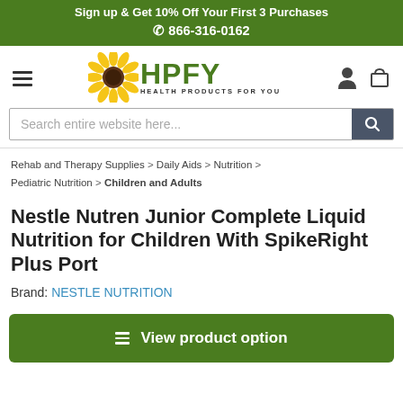Sign up & Get 10% Off Your First 3 Purchases
☎ 866-316-0162
[Figure (logo): HPFY Health Products For You logo with sunflower icon]
Search entire website here...
Rehab and Therapy Supplies > Daily Aids > Nutrition > Pediatric Nutrition > Children and Adults
Nestle Nutren Junior Complete Liquid Nutrition for Children With SpikeRight Plus Port
Brand: NESTLE NUTRITION
≡  View product option